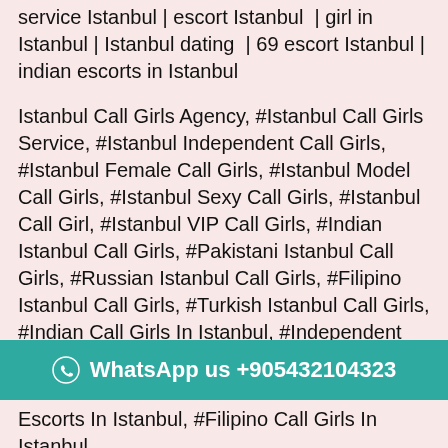service Istanbul | escort Istanbul | girl in Istanbul | Istanbul dating | 69 escort Istanbul | indian escorts in Istanbul
Istanbul Call Girls Agency, #Istanbul Call Girls Service, #Istanbul Independent Call Girls, #Istanbul Female Call Girls, #Istanbul Model Call Girls, #Istanbul Sexy Call Girls, #Istanbul Call Girl, #Istanbul VIP Call Girls, #Indian Istanbul Call Girls, #Pakistani Istanbul Call Girls, #Russian Istanbul Call Girls, #Filipino Istanbul Call Girls, #Turkish Istanbul Call Girls, #Indian Call Girls In Istanbul, #Independent Call Girls Istanbul, #Female Call Girls Istanbul, #Model Call Girls Istanbul, #Call Girls Services In Istanbul,, #Indian Independent Call Girls In Istanbul, #Independent Indian Call Girls Istanbul, #Indian Independent Female Call Girls Istanbul, #Istanbul Call Girls Call Girl, #Turkish Call Girls In Istanbul, #Housewife Call Girls Istanbul, #Call Girls...
WhatsApp us +905432104323
Escorts In Istanbul, #Filipino Call Girls In Istanbul,